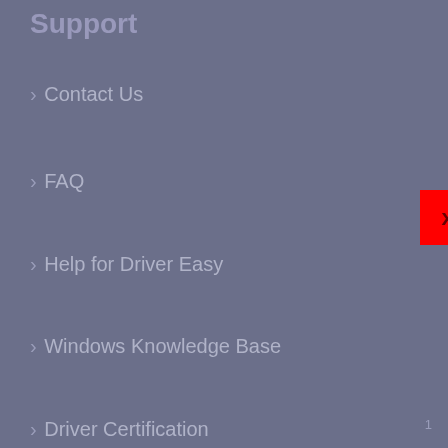Support
› Contact Us
[Figure (other): Red square button with X mark]
› FAQ
› Help for Driver Easy
› Windows Knowledge Base
› Driver Certification
› Resend License Key
› Uninstall Driver Easy
› Refund Policy
Feedback
› Improve Translation
1